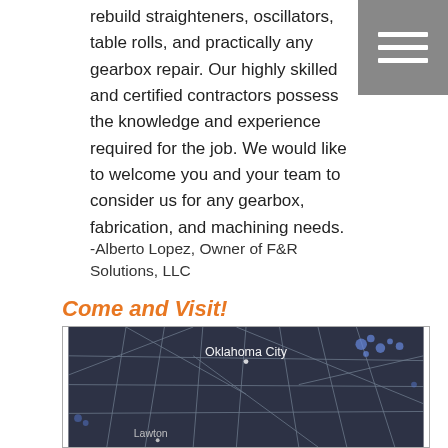rebuild straighteners, oscillators, table rolls, and practically any gearbox repair. Our highly skilled and certified contractors possess the knowledge and experience required for the job. We would like to welcome you and your team to consider us for any gearbox, fabrication, and machining needs.
-Alberto Lopez, Owner of F&R Solutions, LLC
Come and Visit!
[Figure (map): Dark-themed map showing Oklahoma area with Oklahoma City and Lawton labeled, with road network lines visible.]